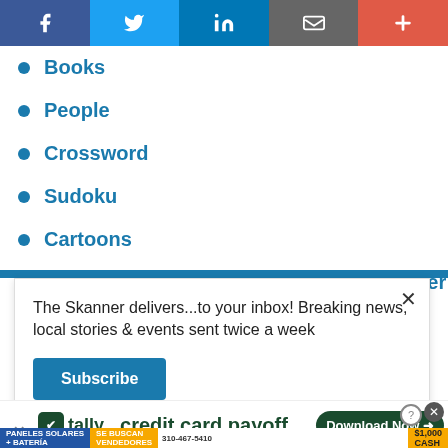[Figure (screenshot): Social media sharing bar with Facebook, Twitter, LinkedIn, email, and plus buttons]
Books
People
Crossword
Sudoku
Cartoons
North Portland Multimedia Training Center
The Skanner delivers...to your inbox! Breaking news, local stories & events sent twice a week
Subscribe
[Figure (screenshot): Infolinks badge and Tally credit card payoff advertisement with Download Now button]
[Figure (screenshot): Paneles Solares Se Buscan Vendedores 310-467-5410 $1,000 Cash solar advertisement]